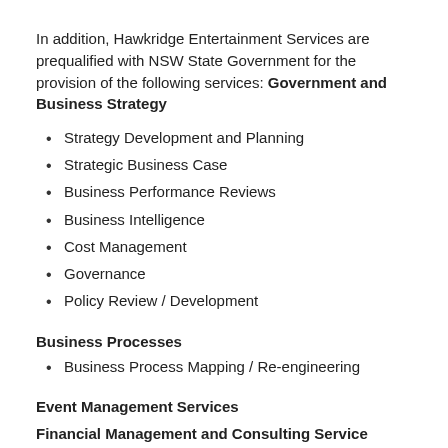In addition, Hawkridge Entertainment Services are prequalified with NSW State Government for the provision of the following services: Government and Business Strategy
Strategy Development and Planning
Strategic Business Case
Business Performance Reviews
Business Intelligence
Cost Management
Governance
Policy Review / Development
Business Processes
Business Process Mapping / Re-engineering
Event Management Services
Financial Management and Consulting Service